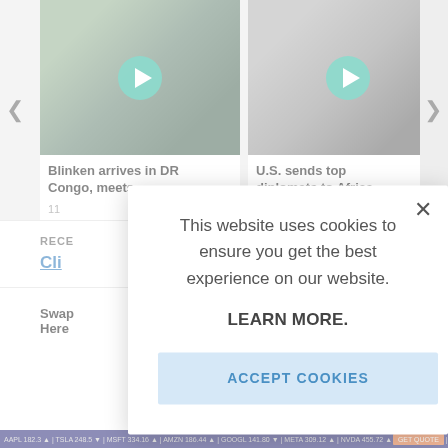[Figure (screenshot): Video carousel showing two video thumbnails with play buttons. Left card: 'Blinken arrives in DR Congo, meets...' Right card: 'U.S. sends top diplomats to Africa...']
Blinken arrives in DR Congo, meets
U.S. sends top diplomats to Africa
11
RECE
Cli
Swap
Here
[Figure (screenshot): Cookie consent modal dialog overlay on a news website. Contains text: 'This website uses cookies to ensure you get the best experience on our website.' with 'LEARN MORE.' link and 'ACCEPT COOKIES' button. Close button (X) in top right.]
This website uses cookies to ensure you get the best experience on our website.
LEARN MORE.
ACCEPT COOKIES
Stock ticker bar at bottom with financial data